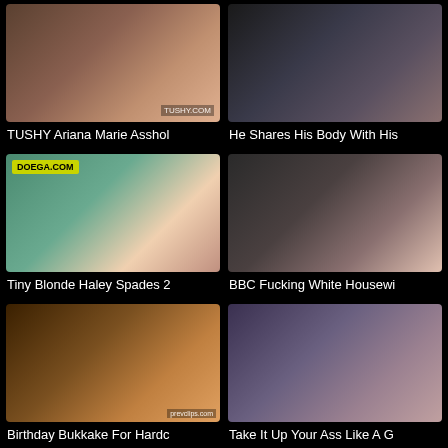[Figure (photo): Thumbnail image with TUSHY watermark]
TUSHY Ariana Marie Asshol
[Figure (photo): Thumbnail image]
He Shares His Body With His
[Figure (photo): Thumbnail image with DOEGA.COM label]
Tiny Blonde Haley Spades 2
[Figure (photo): Thumbnail image]
BBC Fucking White Housewi
[Figure (photo): Thumbnail image with watermark]
Birthday Bukkake For Hardc
[Figure (photo): Thumbnail image]
Take It Up Your Ass Like A G